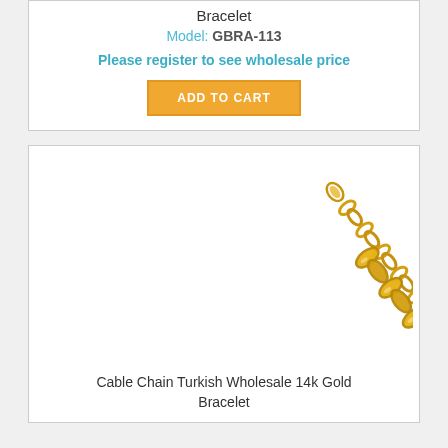Bracelet
Model: GBRA-113
Please register to see wholesale price
ADD TO CART
[Figure (photo): Gold cable chain Turkish wholesale 14k gold bracelet shown diagonally, with two chains overlapping, lobster clasp visible at top right]
Cable Chain Turkish Wholesale 14k Gold Bracelet